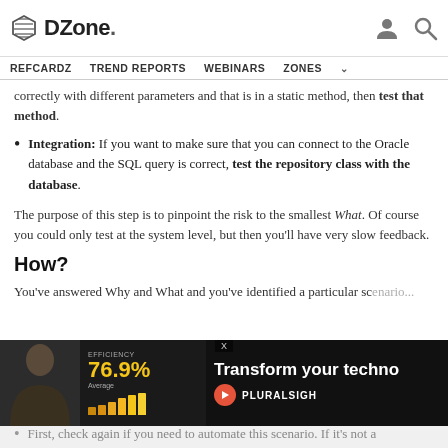DZone. REFCARDZ TREND REPORTS WEBINARS ZONES
correctly with different parameters and that is in a static method, then test that method.
Integration: If you want to make sure that you can connect to the Oracle database and the SQL query is correct, test the repository class with the database.
The purpose of this step is to pinpoint the risk to the smallest What. Of course you could only test at the system level, but then you'll have very slow feedback.
How?
You've answered Why and What and you've identified a particular scenario...
[Figure (advertisement): Pluralsight advertisement overlay showing a woman, efficiency stats at 76.9%, and text 'Transform your techno...']
First, check again if you need to automate this scenario. If it's not a